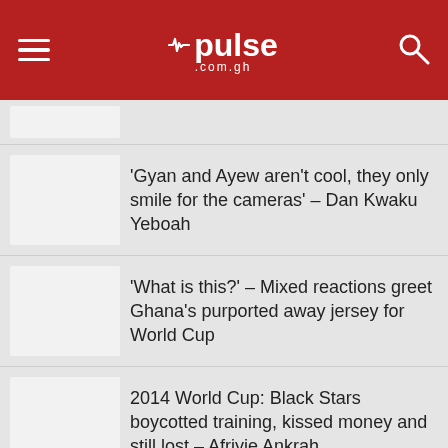pulse.com.gh
[Figure (screenshot): Partial news item thumbnail (top, cropped)]
‘Gyan and Ayew aren’t cool, they only smile for the cameras’ – Dan Kwaku Yeboah
‘What is this?’ – Mixed reactions greet Ghana’s purported away jersey for World Cup
2014 World Cup: Black Stars boycotted training, kissed money and still lost – Afriyie Ankrah
GFA announces Ghana vs Brazil pre-World Cup friendly in September